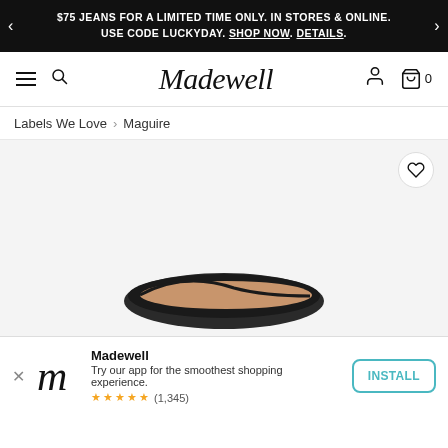$75 JEANS FOR A LIMITED TIME ONLY. IN STORES & ONLINE. USE CODE LUCKYDAY. SHOP NOW. DETAILS.
[Figure (logo): Madewell script logo with hamburger menu, search, user, and cart icons in navigation bar]
Labels We Love > Maguire
[Figure (photo): Product page showing black shoe/boot on light grey background with heart/wishlist button]
Madewell
Try our app for the smoothest shopping experience.
★★★★★ (1,345)
INSTALL